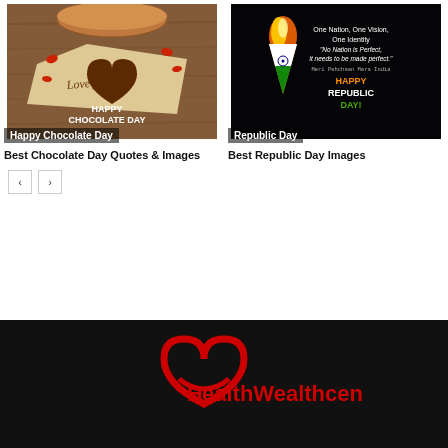[Figure (photo): Chocolate heart cookie with rose petals, 'Love you' note, and text 'Happy Chocolate Day']
Happy Chocolate Day
Best Chocolate Day Quotes & Images
[Figure (photo): Indian flag torch on black background with text: One Nation, One Vision, One Identity, 'No Nation is Perfect, it needs to be made perfect.' Meri Pehchaan Mera India HAPPY REPUBLIC DAY!]
Republic Day
Best Republic Day Images
[Figure (logo): HealthWealthcen logo in red on black background with a heart symbol]